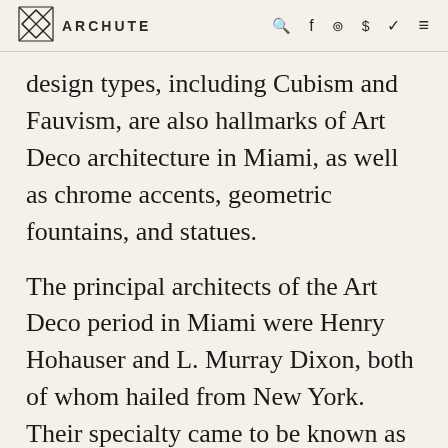ARCHUTE
design types, including Cubism and Fauvism, are also hallmarks of Art Deco architecture in Miami, as well as chrome accents, geometric fountains, and statues.
The principal architects of the Art Deco period in Miami were Henry Hohauser and L. Murray Dixon, both of whom hailed from New York. Their specialty came to be known as Tropical Deco, a sub-style that reflected regional influences like palm trees, cruise ships, and the ocean. Although the Art Deco style's dominance began to wane